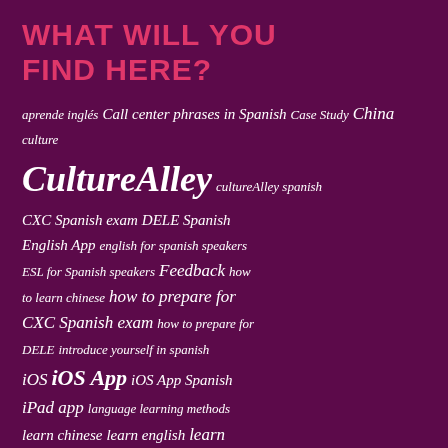WHAT WILL YOU FIND HERE?
aprende inglés Call center phrases in Spanish Case Study China culture CultureAlley cultureAlley spanish CXC Spanish exam DELE Spanish English App english for spanish speakers ESL for Spanish speakers Feedback how to learn chinese how to prepare for CXC Spanish exam how to prepare for DELE introduce yourself in spanish iOS iOS App iOS App Spanish iPad app language learning methods learn chinese learn english learn mandarin Learn Spanish learn spanish for free Learn Spanish free learn spanish on ipad learn